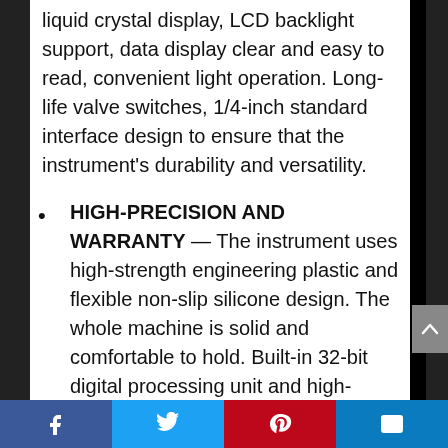liquid crystal display, LCD backlight support, data display clear and easy to read, convenient light operation. Long-life valve switches, 1/4-inch standard interface design to ensure that the instrument's durability and versatility.
HIGH-PRECISION AND WARRANTY — The instrument uses high-strength engineering plastic and flexible non-slip silicone design. The whole machine is solid and comfortable to hold. Built-in 32-bit digital processing unit and high-precision data acquisition unit, high data and
Social share bar: Facebook, Twitter, Pinterest, Email